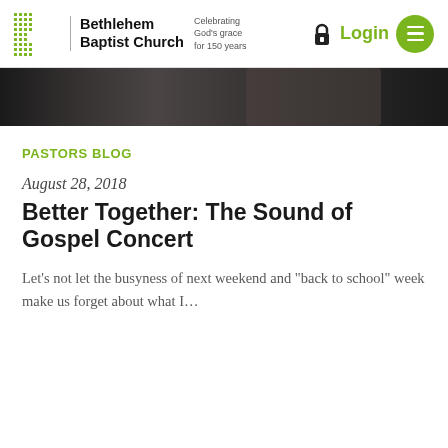Bethlehem Baptist Church | Celebrating God's grace for 150 years | Login
[Figure (photo): Dark hero image strip showing a partial view of a person in a suit]
PASTORS BLOG
August 28, 2018
Better Together: The Sound of Gospel Concert
Let's not let the busyness of next weekend and "back to school" week make us forget about what I...